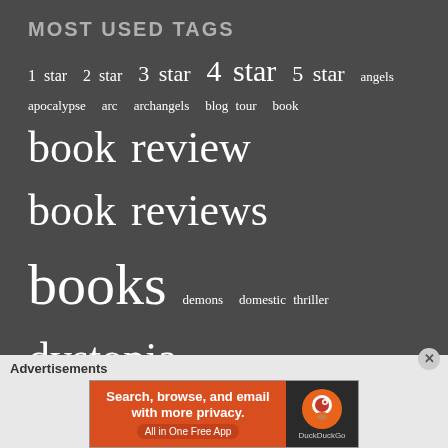MOST USED TAGS
[Figure (infographic): Tag cloud showing most used tags on a blog, with varying font sizes indicating frequency: books (largest), literature, novel, fiction, book reviews, book review (large), mystery, ebook, fantasy, dystopia, 5 star, progress, LGBTQ, horror, historical fiction, Helium, Nano, new releases, and many other smaller tags.]
Advertisements
[Figure (infographic): DuckDuckGo advertisement banner: 'Search, browse, and email with more privacy. All in One Free App' on orange background with DuckDuckGo logo on dark background.]